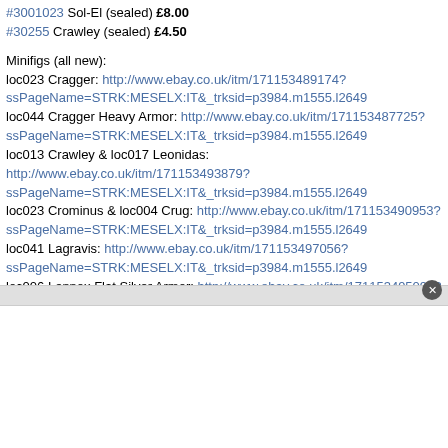#3001023 Sol-El (sealed) £8.00
#30255 Crawley (sealed) £4.50
Minifigs (all new):
loc023 Cragger: http://www.ebay.co.uk/itm/171153489174?ssPageName=STRK:MESELX:IT&_trksid=p3984.m1555.l2649
loc044 Cragger Heavy Armor: http://www.ebay.co.uk/itm/171153487725?ssPageName=STRK:MESELX:IT&_trksid=p3984.m1555.l2649
loc013 Crawley & loc017 Leonidas: http://www.ebay.co.uk/itm/171153493879?ssPageName=STRK:MESELX:IT&_trksid=p3984.m1555.l2649
loc023 Crominus & loc004 Crug: http://www.ebay.co.uk/itm/171153490953?ssPageName=STRK:MESELX:IT&_trksid=p3984.m1555.l2649
loc041 Lagravis: http://www.ebay.co.uk/itm/171153497056?ssPageName=STRK:MESELX:IT&_trksid=p3984.m1555.l2649
loc006 Lennox Flat Silver Armor: http://www.ebay.co.uk/itm/171153495096?ssPageName=STRK:MESELX:IT&_trksid=p3984.m1555.l2649
loc027 Longtooth & loc004 Crug: http://www.ebay.co.uk/itm/171153492760?ssPageName=STRK:MESELX:IT&_trksid=p3984.m1555.l2649